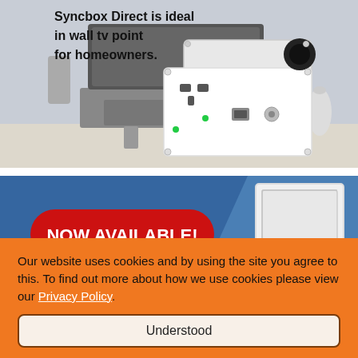[Figure (photo): Product photo showing Syncbox Direct in-wall TV point — white multi-outlet wall plate with power, phone, and coax connectors, displayed against a modern living room background with grey TV unit. Text overlay: 'Syncbox Direct is ideal in wall tv point for homeowners.']
[Figure (photo): Product banner with blue background showing a white access panel/hatch. Red rounded-rectangle button with white bold text: 'NOW AVAILABLE!']
Our website uses cookies and by using the site you agree to this. To find out more about how we use cookies please view our Privacy Policy.
Understood